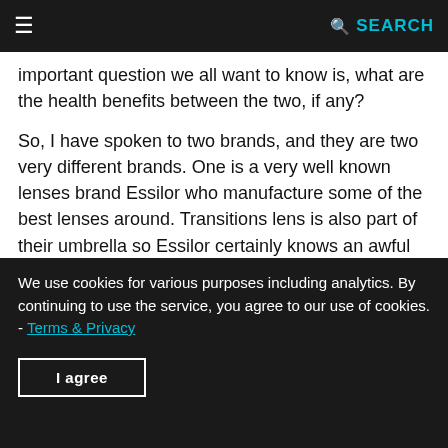≡  SEARCH
important question we all want to know is, what are the health benefits between the two, if any?
So, I have spoken to two brands, and they are two very different brands. One is a very well known lenses brand Essilor who manufacture some of the best lenses around. Transitions lens is also part of their umbrella so Essilor certainly knows an awful lot on lenses and sunglasses lens. The second company is Maui Jim who produce some of the best sunglasses in the world. Their sunglasses range are so good that year after year many sports professionals (and personalities) has become their loyal customers. Maui Jim is known as a sunglasses brand, but they are a lens focused company. The questions I have asked them below are questions I got asked, and some I feel
We use cookies for various purposes including analytics. By continuing to use the service, you agree to our use of cookies. - Terms & Privacy
I agree